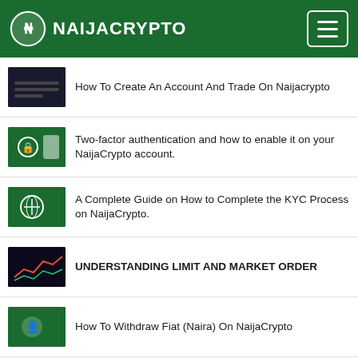NAIJACRYPTO
How To Create An Account And Trade On Naijacrypto
Two-factor authentication and how to enable it on your NaijaCrypto account.
A Complete Guide on How to Complete the KYC Process on NaijaCrypto.
UNDERSTANDING LIMIT AND MARKET ORDER
How To Withdraw Fiat (Naira) On NaijaCrypto
Naijacrypto Affiliate Programme.
HOW TO DEPOSIT CRYPTOCURRENCIES ON